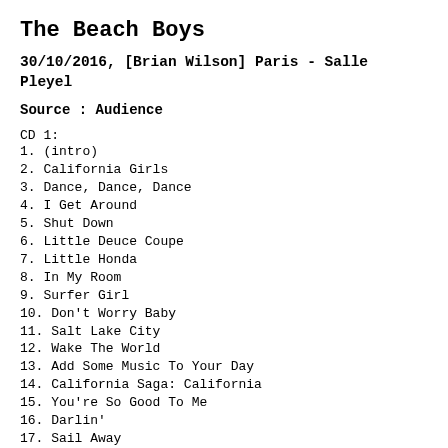The Beach Boys
30/10/2016, [Brian Wilson] Paris - Salle Pleyel
Source : Audience
CD 1:
1. (intro)
2. California Girls
3. Dance, Dance, Dance
4. I Get Around
5. Shut Down
6. Little Deuce Coupe
7. Little Honda
8. In My Room
9. Surfer Girl
10. Don't Worry Baby
11. Salt Lake City
12. Wake The World
13. Add Some Music To Your Day
14. California Saga: California
15. You're So Good To Me
16. Darlin'
17. Sail Away
18. Wild Honey
19. Sail On, Sailor